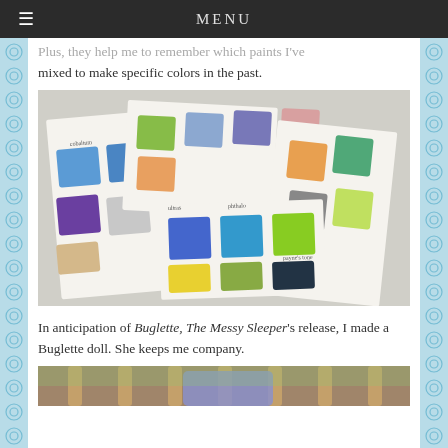MENU
Plus, they help me to remember which paints I've mixed to make specific colors in the past.
[Figure (photo): A collection of handmade watercolor paint swatch cards spread out on a surface, showing various painted color squares in blues, greens, oranges, purples, yellows, and grays with handwritten labels.]
In anticipation of Buglette, The Messy Sleeper's release, I made a Buglette doll. She keeps me company.
[Figure (photo): Partial view of what appears to be a stuffed doll or toy, partially visible at the bottom of the page.]